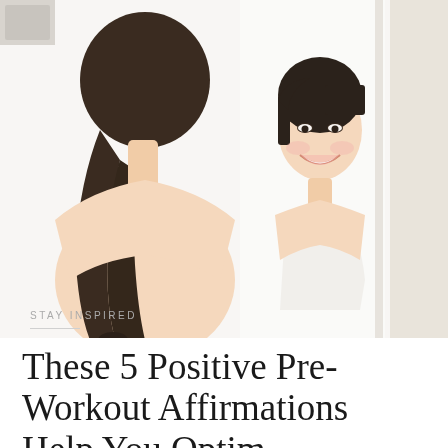[Figure (photo): A woman viewed from behind with a dark ponytail, wearing a white tank top, looking at her smiling reflection in a bathroom mirror. The reflection shows an Asian woman smiling warmly. The background is bright and airy.]
STAY INSPIRED
These 5 Positive Pre-Workout Affirmations Help You Optim…